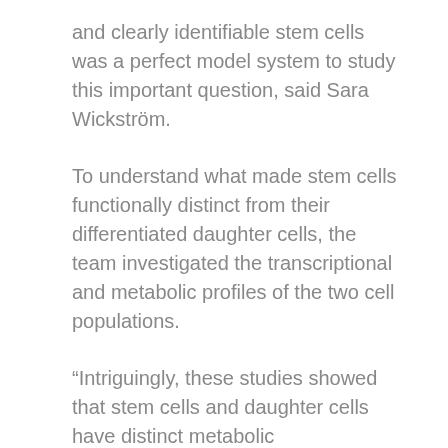and clearly identifiable stem cells was a perfect model system to study this important question, said Sara Wickström.
To understand what made stem cells functionally distinct from their differentiated daughter cells, the team investigated the transcriptional and metabolic profiles of the two cell populations.
“Intriguingly, these studies showed that stem cells and daughter cells have distinct metabolic characteristics,” said Dr. Christine Kim, co-leading scientist of the study. “Our analyses further predicted that Rictor, an important but relatively poorly understood molecular component of the metabolic master regulator mTOR pathway, would be involved.”